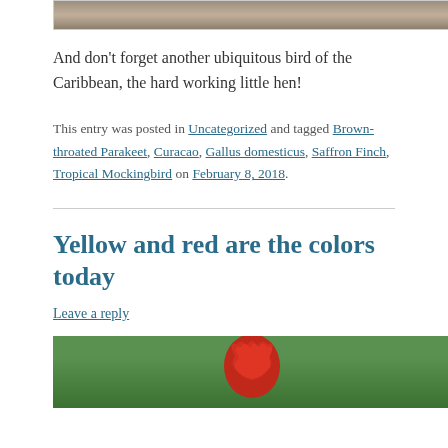[Figure (photo): Top portion of a photo showing a bird or animal on ground, cropped at top of page]
And don't forget another ubiquitous bird of the Caribbean, the hard working little hen!
This entry was posted in Uncategorized and tagged Brown-throated Parakeet, Curacao, Gallus domesticus, Saffron Finch, Tropical Mockingbird on February 8, 2018.
Yellow and red are the colors today
Leave a reply
[Figure (photo): Bottom portion of a photo showing a red rooster comb against a green background]